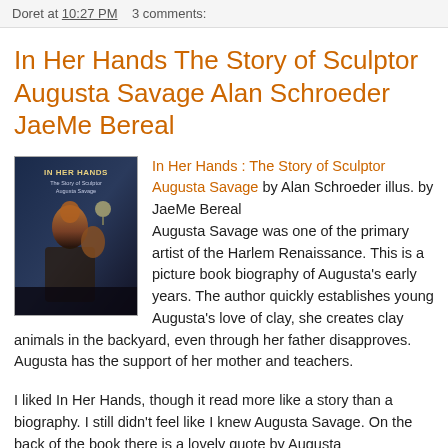Doret at 10:27 PM    3 comments:
In Her Hands The Story of Sculptor Augusta Savage Alan Schroeder JaeMe Bereal
[Figure (photo): Book cover of 'In Her Hands: The Story of Sculptor Augusta Savage' showing a figure with a sculpture against a dark background]
In Her Hands : The Story of Sculptor Augusta Savage by Alan Schroeder illus. by JaeMe Bereal
Augusta Savage was one of the primary artist of the Harlem Renaissance. This is a picture book biography of Augusta's early years. The author quickly establishes young Augusta's love of clay, she creates clay animals in the backyard, even through her father disapproves. Augusta has the support of her mother and teachers.
I liked In Her Hands, though it read more like a story than a biography. I still didn't feel like I knew Augusta Savage. On the back of the book there is a lovely quote by Augusta